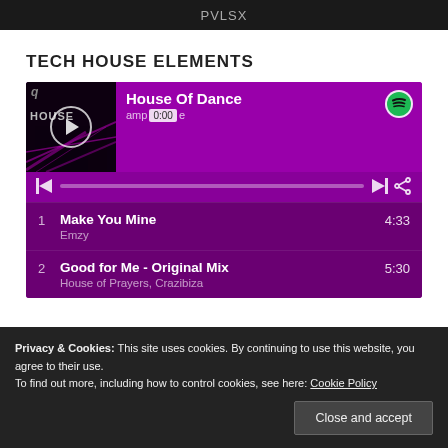PVLSX
TECH HOUSE ELEMENTS
[Figure (screenshot): Spotify-style music player widget showing 'House Of Dance' by amerie, with play controls, progress bar at 0:00, Spotify icon, and a tracklist showing: 1. Make You Mine - Emzy 4:33, 2. Good for Me - Original Mix - House of Prayers, Crazibiza 5:30. Purple/magenta background.]
Privacy & Cookies: This site uses cookies. By continuing to use this website, you agree to their use.
To find out more, including how to control cookies, see here: Cookie Policy
Close and accept